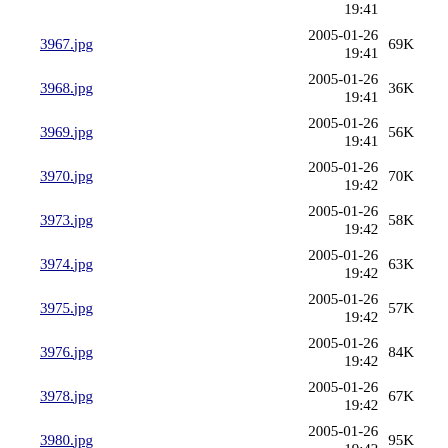19:41 (partial, top)
3967.jpg 2005-01-26 19:41 69K
3968.jpg 2005-01-26 19:41 36K
3969.jpg 2005-01-26 19:41 56K
3970.jpg 2005-01-26 19:42 70K
3973.jpg 2005-01-26 19:42 58K
3974.jpg 2005-01-26 19:42 63K
3975.jpg 2005-01-26 19:42 57K
3976.jpg 2005-01-26 19:42 84K
3978.jpg 2005-01-26 19:42 67K
3980.jpg 2005-01-26 19:42 95K
3981.jpg 2005-01-26 19:42 71K